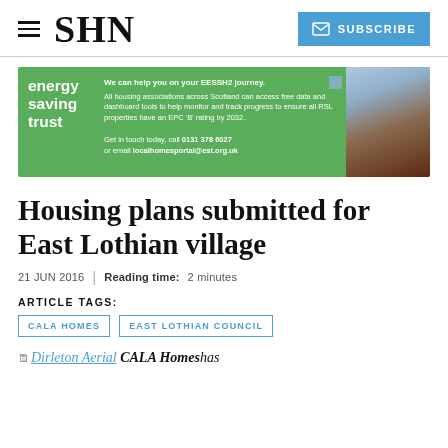SHN | SUBSCRIBE
[Figure (infographic): Energy Saving Trust advertisement banner. Green background with white text: 'energy saving trust'. Text: 'We can help you on your EESSH2 journey. All housing associations across Scotland can access free data and dashboard tools to help monitor and track progress to ensure all RSL properties have an EPC B rating by 2032. Get in touch today, call 0131 378 6027 or email localhomesportal@est.org.uk'. Photo of residential buildings on right side.]
Housing plans submitted for East Lothian village
21 JUN 2016 | Reading time: 2 minutes
ARTICLE TAGS:
CALA HOMES
EAST LOTHIAN COUNCIL
Dirleton Aerial CALA Homes has